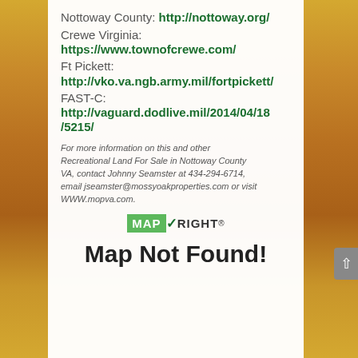Nottoway County: http://nottoway.org/
Crewe Virginia: https://www.townofcrewe.com/
Ft Pickett: http://vko.va.ngb.army.mil/fortpickett/
FAST-C: http://vaguard.dodlive.mil/2014/04/18/5215/
For more information on this and other Recreational Land For Sale in Nottoway County VA, contact Johnny Seamster at 434-294-6714, email jseamster@mossyoakproperties.com or visit WWW.mopva.com.
[Figure (logo): MapRight logo with green MAP box and RIGHT text with checkmark]
Map Not Found!